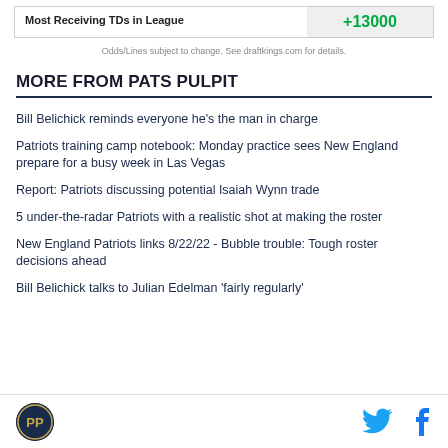| Prop | Odds |
| --- | --- |
| Most Receiving TDs in League | +13000 |
Odds/Lines subject to change. See draftkings.com for details.
MORE FROM PATS PULPIT
Bill Belichick reminds everyone he's the man in charge
Patriots training camp notebook: Monday practice sees New England prepare for a busy week in Las Vegas
Report: Patriots discussing potential Isaiah Wynn trade
5 under-the-radar Patriots with a realistic shot at making the roster
New England Patriots links 8/22/22 - Bubble trouble: Tough roster decisions ahead
Bill Belichick talks to Julian Edelman 'fairly regularly'
Pats Pulpit logo, Twitter and Facebook icons